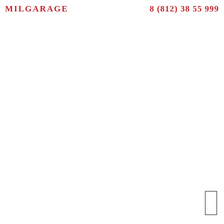MILGARAGE   8 (812) 38 55 999
[Figure (other): Small empty rectangle outline in the bottom-right corner of the page]